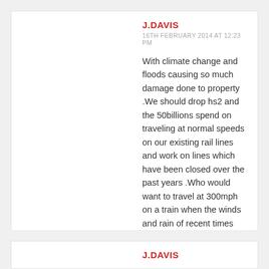J.DAVIS
16TH FEBRUARY 2014 AT 12:23 PM
With climate change and floods causing so much damage done to property .We should drop hs2 and the 50billions spend on traveling at normal speeds on our existing rail lines and work on lines which have been closed over the past years .Who would want to travel at 300mph on a train when the winds and rain of recent times .The experts say this is the weather of the future years .so traveling at high speed will not work in our country .So let's not waste any more money on hs2 And have a good steady train which we can all use
J.DAVIS